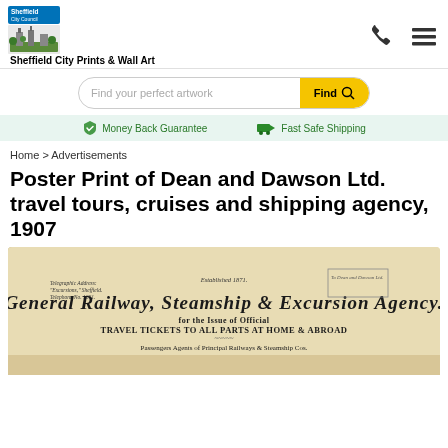Sheffield City Council | Sheffield City Prints & Wall Art
Find your perfect artwork
Money Back Guarantee | Fast Safe Shipping
Home > Advertisements
Poster Print of Dean and Dawson Ltd. travel tours, cruises and shipping agency, 1907
[Figure (photo): Antique poster showing a General Railway, Steamship & Excursion Agency letterhead dated Established 1871, for the issue of Official Travel Tickets to All Parts at Home & Abroad. Passengers Agents of Principal Railways & Steamship Cos.]